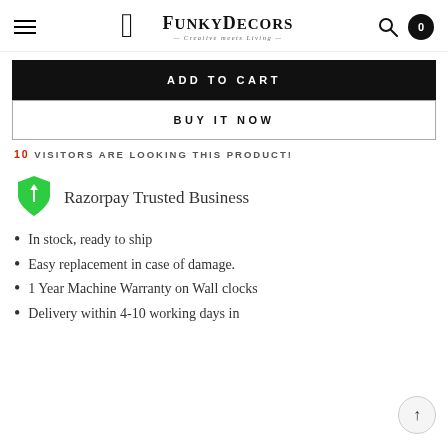FunkyDecors — Creative meets Living
ADD TO CART
BUY IT NOW
10 VISITORS ARE LOOKING THIS PRODUCT!
[Figure (logo): Razorpay trusted business shield logo — green shield with white lightning bolt]
Razorpay Trusted Business
In stock, ready to ship
Easy replacement in case of damage.
1 Year Machine Warranty on Wall clocks
Delivery within 4-10 working days in